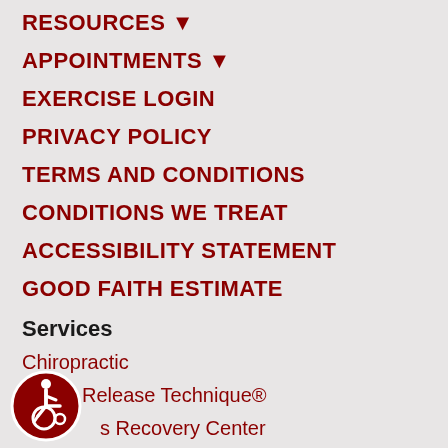RESOURCES ▼
APPOINTMENTS ▼
EXERCISE LOGIN
PRIVACY POLICY
TERMS AND CONDITIONS
CONDITIONS WE TREAT
ACCESSIBILITY STATEMENT
GOOD FAITH ESTIMATE
Services
Chiropractic
Active Release Technique®
s Recovery Center
Neck Pain/Headache Relief
[Figure (illustration): Wheelchair accessibility icon — white wheelchair symbol on red circular background]